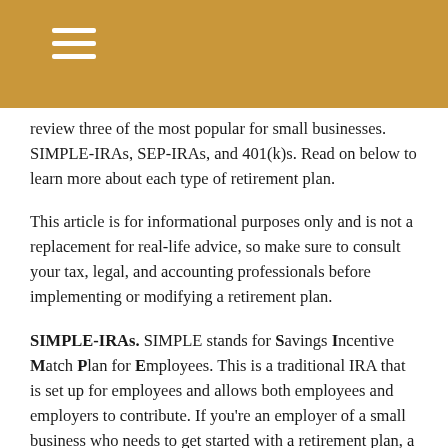review three of the most popular for small businesses. SIMPLE-IRAs, SEP-IRAs, and 401(k)s. Read on below to learn more about each type of retirement plan.
This article is for informational purposes only and is not a replacement for real-life advice, so make sure to consult your tax, legal, and accounting professionals before implementing or modifying a retirement plan.
SIMPLE-IRAs. SIMPLE stands for Savings Incentive Match Plan for Employees. This is a traditional IRA that is set up for employees and allows both employees and employers to contribute. If you’re an employer of a small business who needs to get started with a retirement plan, a SIMPLE-IRA may be for you. SIMPLE-IRA’s provide some degree of flexibility in that employers can choose to either offer a matching contribution to their employee's retirement